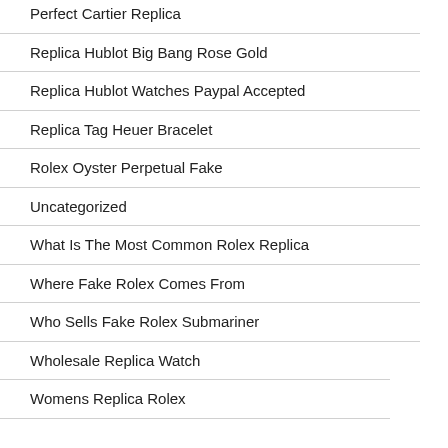Perfect Cartier Replica
Replica Hublot Big Bang Rose Gold
Replica Hublot Watches Paypal Accepted
Replica Tag Heuer Bracelet
Rolex Oyster Perpetual Fake
Uncategorized
What Is The Most Common Rolex Replica
Where Fake Rolex Comes From
Who Sells Fake Rolex Submariner
Wholesale Replica Watch
Womens Replica Rolex